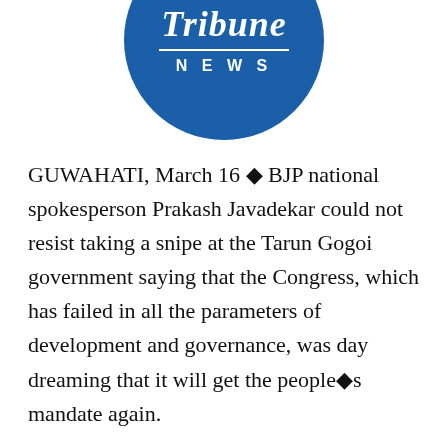[Figure (logo): Tribune NEWS circular blue logo with white text showing 'Tribune' in gothic/blackletter font and 'NEWS' in spaced capitals below a horizontal line]
GUWAHATI, March 16 ◆ BJP national spokesperson Prakash Javadekar could not resist taking a snipe at the Tarun Gogoi government saying that the Congress, which has failed in all the parameters of development and governance, was day dreaming that it will get the people◆s mandate again.
Addressing mediapersons here on Wednesday, Javadekar